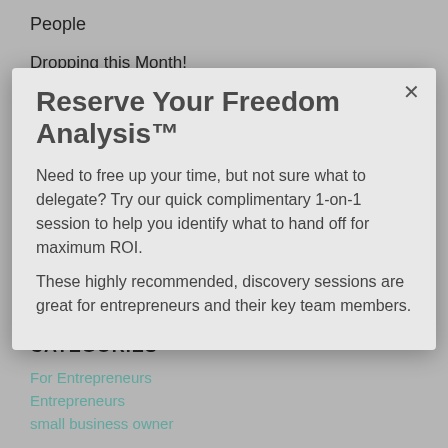People
Dropping this Month!
Choosing An Al...
The Path Out of the Day to Day - The Importance of a World-Class WL Duo
My Takeaways From Writing a Book
Just for our Readers - Special Offer: Free Funnel Audit
Reserve Your Freedom Analysis™
Need to free up your time, but not sure what to delegate?  Try our quick complimentary 1-on-1 session to help you identify what to hand off for maximum ROI.
These highly recommended, discovery sessions are great for entrepreneurs and their key team members.
CATEGORIES
For Entrepreneurs
Entrepreneurs
small business owner